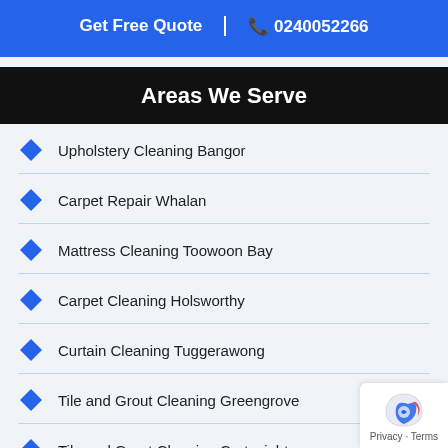Get Free Quote | 0240052266
Areas We Serve
Upholstery Cleaning Bangor
Carpet Repair Whalan
Mattress Cleaning Toowoon Bay
Carpet Cleaning Holsworthy
Curtain Cleaning Tuggerawong
Tile and Grout Cleaning Greengrove
Tile and Grout Cleaning Cartwright